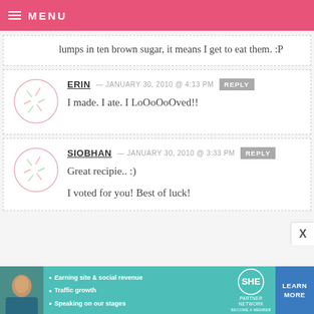MENU
lumps in ten brown sugar, it means I get to eat them. :P
ERIN — JANUARY 30, 2010 @ 4:13 PM REPLY
I made. I ate. I LoOoOoOved!!
SIOBHAN — JANUARY 30, 2010 @ 3:33 PM REPLY
Great recipie.. :)
I voted for you! Best of luck!
[Figure (infographic): SHE Partner Network advertisement banner with photo of woman, bullet points about earning site and social revenue, traffic growth, speaking on stages, SHE logo, and Learn More button]